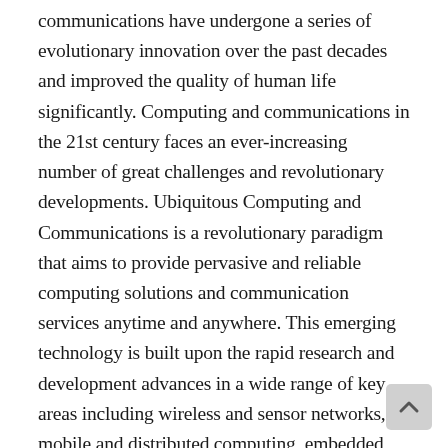communications have undergone a series of evolutionary innovation over the past decades and improved the quality of human life significantly. Computing and communications in the 21st century faces an ever-increasing number of great challenges and revolutionary developments. Ubiquitous Computing and Communications is a revolutionary paradigm that aims to provide pervasive and reliable computing solutions and communication services anytime and anywhere. This emerging technology is built upon the rapid research and development advances in a wide range of key areas including wireless and sensor networks, mobile and distributed computing, embedded systems, agent technologies, autonomic communication, and information security. Ubiquitous Computing and Communications has drawn significant interests from both academia